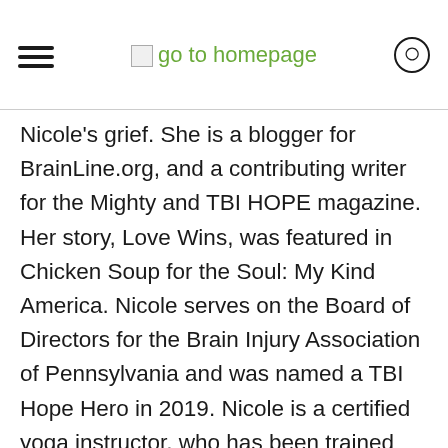go to homepage
Nicole's grief. She is a blogger for BrainLine.org, and a contributing writer for the Mighty and TBI HOPE magazine. Her story, Love Wins, was featured in Chicken Soup for the Soul: My Kind America. Nicole serves on the Board of Directors for the Brain Injury Association of Pennsylvania and was named a TBI Hope Hero in 2019. Nicole is a certified yoga instructor, who has been trained with the LoveYourBrain foundation. Book: